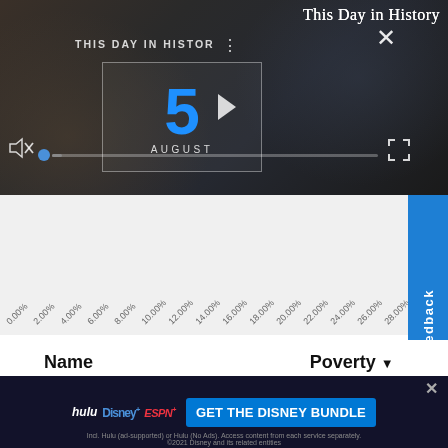[Figure (screenshot): Video player overlay showing 'THIS DAY IN HISTORY' with a thumbnail displaying the number 5 and AUGUST, with mute icon, progress bar, and close/fullscreen buttons. Dark background with blurred faces.]
This Day in History
[Figure (other): Horizontal percentage axis showing tick labels from 0.00% to 30.00% in 2% increments, rotated 45 degrees, on a light grey background]
[Figure (other): Blue vertical Feedback tab on the right side with star icon]
| Name | Poverty ▾ |
| --- | --- |
| Bachelors or Greater | 29.85% |
[Figure (screenshot): Advertisement banner for Disney Bundle featuring Hulu, Disney+, ESPN+ logos with blue CTA button 'GET THE DISNEY BUNDLE']